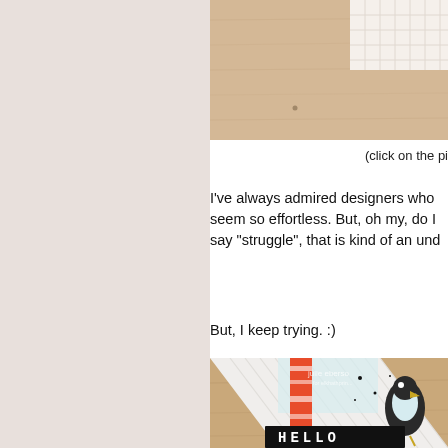[Figure (photo): Top portion of a craft/card making photo on a wooden surface with patterned paper, partially visible]
(click on the pi
I've always admired designers who seem so effortless. But, oh my, do I say "struggle", that is kind of an und
But, I keep trying. :)
[Figure (photo): Close-up photo of a handmade greeting card with white corrugated cardstock, orange/red geometric pattern strip, a bird stamp with black spatter ink, and a black banner with 'HELLO' text in white letter stamps. Watermark reads 'julie eberso' for elkhathprin...]